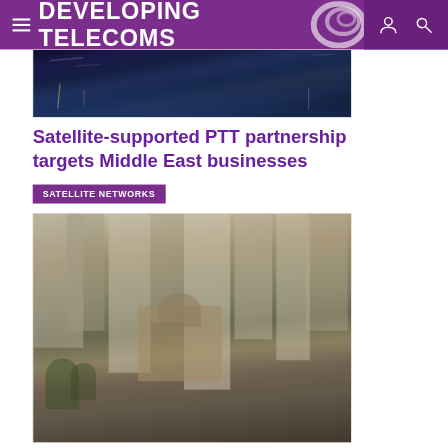DEVELOPING TELECOMS
[Figure (photo): Aerial/harbor night photo showing boats and water with city lights]
Satellite-supported PTT partnership targets Middle East businesses
SATELLITE NETWORKS
[Figure (photo): Aerial daytime photo of a dense urban cityscape with tall buildings and a historic church or cathedral in the foreground]